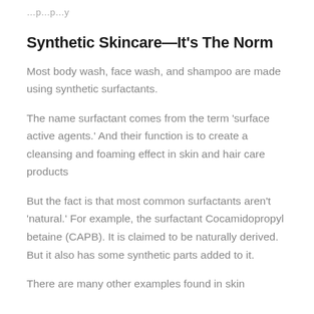…p…p…y
Synthetic Skincare—It's The Norm
Most body wash, face wash, and shampoo are made using synthetic surfactants.
The name surfactant comes from the term 'surface active agents.' And their function is to create a cleansing and foaming effect in skin and hair care products
But the fact is that most common surfactants aren't 'natural.' For example, the surfactant Cocamidopropyl betaine (CAPB). It is claimed to be naturally derived. But it also has some synthetic parts added to it.
There are many other examples found in skin